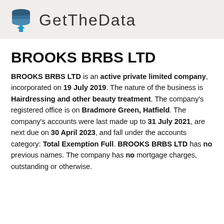GetTheData
BROOKS BRBS LTD
BROOKS BRBS LTD is an active private limited company, incorporated on 19 July 2019. The nature of the business is Hairdressing and other beauty treatment. The company's registered office is on Bradmore Green, Hatfield. The company's accounts were last made up to 31 July 2021, are next due on 30 April 2023, and fall under the accounts category: Total Exemption Full. BROOKS BRBS LTD has no previous names. The company has no mortgage charges, outstanding or otherwise.